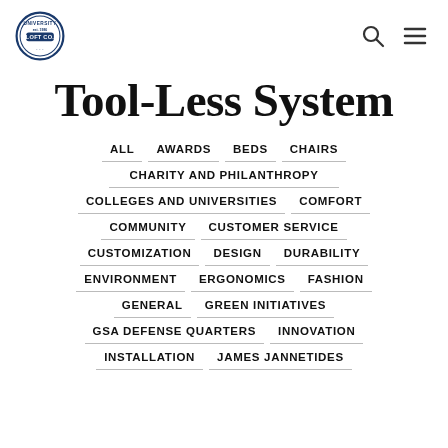University Loft Co.
Tool-Less System
ALL
AWARDS
BEDS
CHAIRS
CHARITY AND PHILANTHROPY
COLLEGES AND UNIVERSITIES
COMFORT
COMMUNITY
CUSTOMER SERVICE
CUSTOMIZATION
DESIGN
DURABILITY
ENVIRONMENT
ERGONOMICS
FASHION
GENERAL
GREEN INITIATIVES
GSA DEFENSE QUARTERS
INNOVATION
INSTALLATION
JAMES JANNETIDES